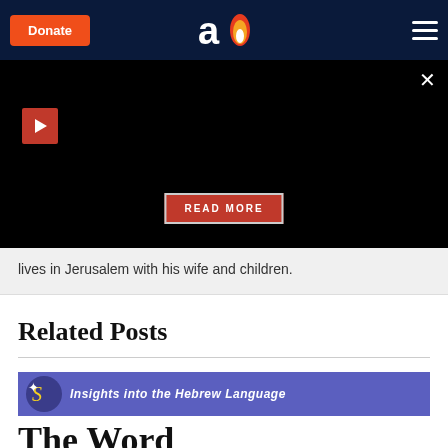Aish.com header with Donate button, logo, and menu
[Figure (screenshot): Black video player overlay with red play button top-left, X close button top-right, and READ MORE red button centered at bottom]
lives in Jerusalem with his wife and children.
Related Posts
[Figure (illustration): Insights into the Hebrew Language banner with decorative icon on purple/blue background, followed by partial title 'The Word']